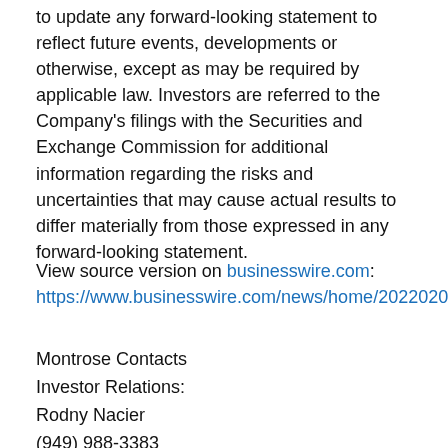to update any forward-looking statement to reflect future events, developments or otherwise, except as may be required by applicable law. Investors are referred to the Company's filings with the Securities and Exchange Commission for additional information regarding the risks and uncertainties that may cause actual results to differ materially from those expressed in any forward-looking statement.
View source version on businesswire.com: https://www.businesswire.com/news/home/20220207005234/en/
Montrose Contacts
Investor Relations:
Rodny Nacier
(949) 988-3383
ir@montrose-env.com